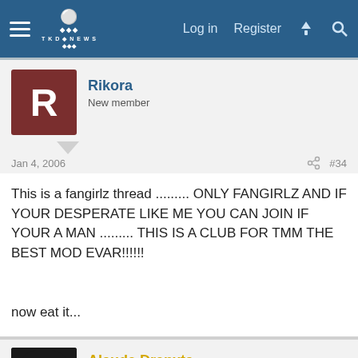Log in  Register
[Figure (screenshot): Forum user avatar for Rikora: dark red square with white letter R]
Rikora
New member
Jan 4, 2006  #34
This is a fangirlz thread ......... ONLY FANGIRLZ AND IF YOUR DESPERATE LIKE ME YOU CAN JOIN IF YOUR A MAN ......... THIS IS A CLUB FOR TMM THE BEST MOD EVAR!!!!!!


now eat it...
[Figure (photo): Forum user avatar for Alaude Drenxta: dark photo of cat eye with green iris]
Alaude Drenxta
\+The Devil's+/ .{Advocate}.
Jan 4, 2006  #35
pfff. I've got more fangirls than the muffinman. But, I will admit